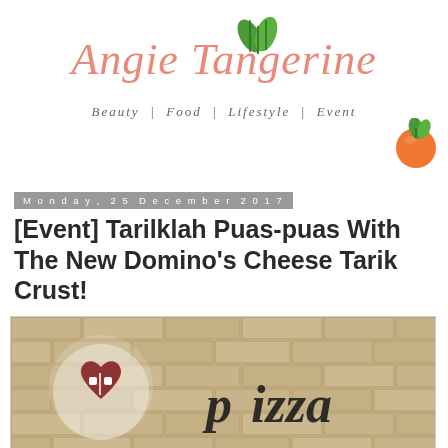[Figure (logo): Angie Tangerine blog logo with coral/pink cursive text, green leaf decoration at top, orange tangerine fruit icon at right, subtitle: Beauty | Food | Lifestyle | Event]
Monday, 25 December 2017
[Event] Tarilklah Puas-puas With The New Domino's Cheese Tarik Crust!
[Figure (photo): Photo of Domino's Pizza restaurant interior showing a brick wall with a glowing Domino's heart logo sign and decorative 'pizza' lettering]